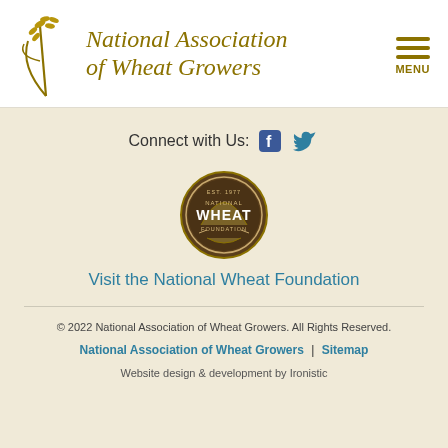[Figure (logo): National Association of Wheat Growers logo with wheat stalk illustration and italic gold text]
Connect with Us:
[Figure (logo): National Wheat Foundation circular badge/seal logo, dark brown with gold text reading EST. 1977, NATIONAL WHEAT FOUNDATION]
Visit the National Wheat Foundation
© 2022 National Association of Wheat Growers. All Rights Reserved.
National Association of Wheat Growers | Sitemap
Website design & development by Ironistic